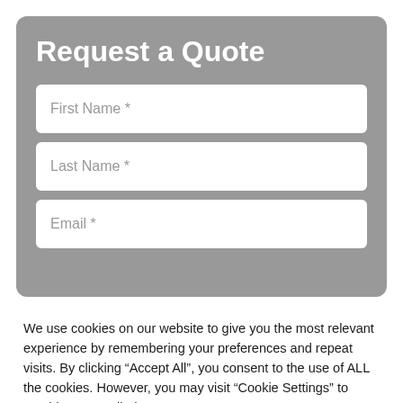Request a Quote
First Name *
Last Name *
Email *
We use cookies on our website to give you the most relevant experience by remembering your preferences and repeat visits. By clicking “Accept All”, you consent to the use of ALL the cookies. However, you may visit “Cookie Settings” to provide a controlled consent.
Cookie Settings
Accept All